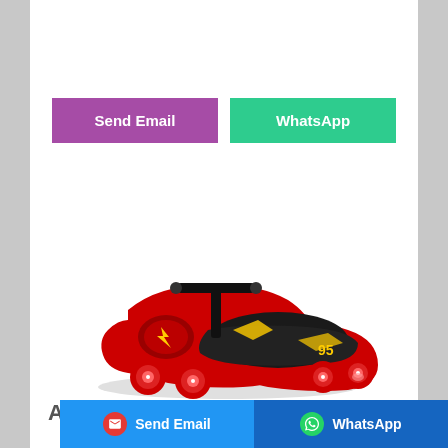[Figure (other): Two buttons: purple 'Send Email' button and green 'WhatsApp' button]
[Figure (photo): Red Lightning McQueen themed children's swing car / wiggle ride-on toy with black handlebar and red wheels]
Amazon : New Lightning
[Figure (other): Bottom navigation bar with blue 'Send Email' button (with red email icon) on left and dark blue 'WhatsApp' button (with green WhatsApp icon) on right]